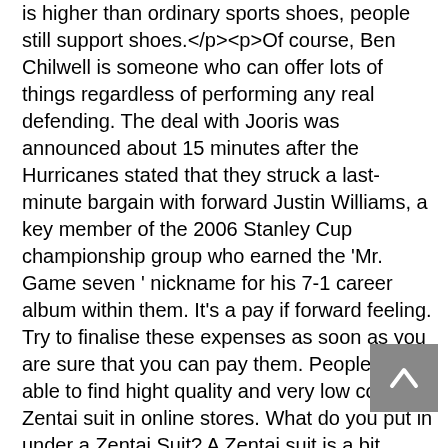is higher than ordinary sports shoes, people still support shoes.</p><p>Of course, Ben Chilwell is someone who can offer lots of things regardless of performing any real defending. The deal with Jooris was announced about 15 minutes after the Hurricanes stated that they struck a last-minute bargain with forward Justin Williams, a key member of the 2006 Stanley Cup championship group who earned the 'Mr. Game seven ' nickname for his 7-1 career album within them. It's a pay if forward feeling. Try to finalise these expenses as soon as you are sure that you can pay them. People are able to find hight quality and very low cost Zentai suit in online stores. What do you put in under a Zentai Suit? A Zentai suit is a bit transparent, thus we suggest you sporting a pair of shorts, motorcycle pants, yoga tights inside. How to go to the bathroom in a Zentai Blend?</p>